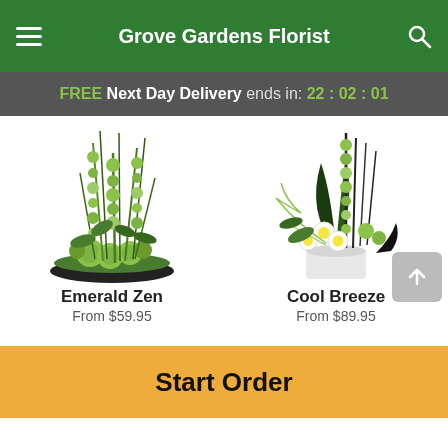Grove Gardens Florist
FREE Next Day Delivery ends in: 22:02:01
[Figure (photo): Emerald Zen floral arrangement with tall green stems, green flowers, and round green chrysanthemums in a black bowl]
Emerald Zen
From $59.95
[Figure (photo): Cool Breeze floral arrangement with tall green stems, white daisies, green roses, and foliage in a white pot]
Cool Breeze
From $89.95
Start Order